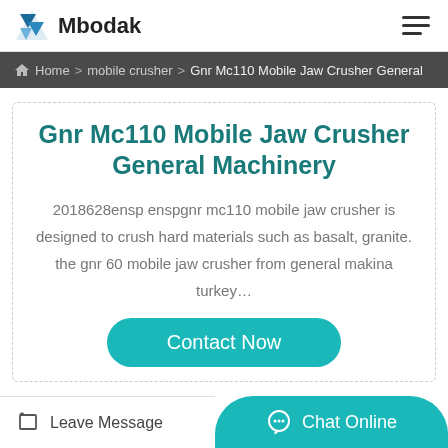Mbodak
Home > mobile crusher > Gnr Mc110 Mobile Jaw Crusher General
Gnr Mc110 Mobile Jaw Crusher General Machinery
2018628ensp enspgnr mc110 mobile jaw crusher is designed to crush hard materials such as basalt, granite. the gnr 60 mobile jaw crusher from general makina turkey…
Contact Now
Leave Message
Chat Online